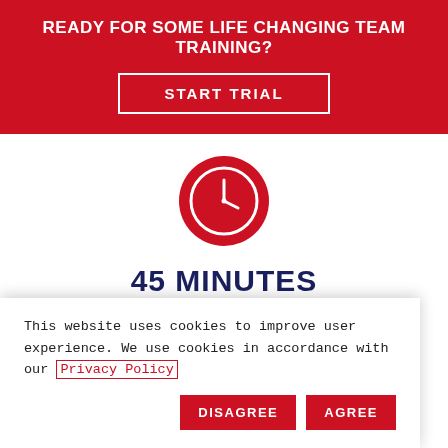READY FOR SOME LIFE CHANGING TEAM TRAINING?
START TRIAL
[Figure (illustration): Red circular icon with a white clock face showing approximately 10:10]
45 MINUTES
F45 is one of the most time-efficient ways of training. We aim
This website uses cookies to improve user experience. We use cookies in accordance with our Privacy Policy
DISAGREE
AGREE